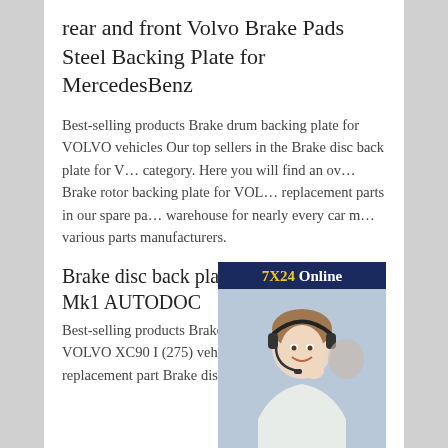rear and front Volvo Brake Pads Steel Backing Plate for MercedesBenz
Best-selling products Brake drum backing plate for VOLVO vehicles Our top sellers in the Brake disc back plate for VOLVO category. Here you will find an overview of Brake rotor backing plate for VOLVO replacement parts in our spare parts warehouse for nearly every car make from various parts manufacturers.
[Figure (infographic): Online support widget with '7X24 Online' header in navy blue with yellow text, photo of a woman wearing a headset, 'Hello, may I help you?' text, and a yellow 'Get Latest Price' button.]
Brake disc back plate for Volvo XC90 Mk1 AUTODOC
Best-selling products Brake drum backing plate for VOLVO XC90 I (275) vehicles. Best selling replacement part Brake disc